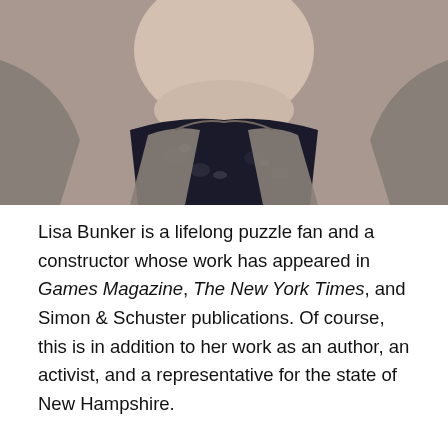[Figure (photo): Close-up photo of a person's neck and shoulders, wearing a dark floral top and a gray blazer. Only the lower part of the face/chin is visible at the top.]
Lisa Bunker is a lifelong puzzle fan and a constructor whose work has appeared in Games Magazine, The New York Times, and Simon & Schuster publications. Of course, this is in addition to her work as an author, an activist, and a representative for the state of New Hampshire.
But now having returned to the world of puzzles, Lisa is probably best known these days as the creator and editor of Crucinova, one of the most ambitious and innovative puzzle outlets on the rise in the puzzleworld today. (You might have seen them included in the Boswords puzzle